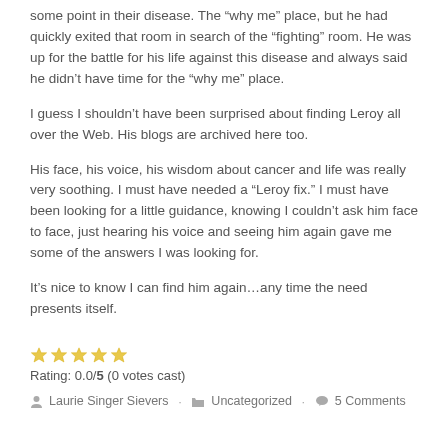some point in their disease.  The “why me” place, but he had quickly exited that room in search of the “fighting” room. He was up for the battle for his life against this disease and always said he didn’t have time for the “why me” place.
I guess I shouldn’t have been surprised about finding Leroy all over the Web.  His blogs are archived here too.
His face, his voice, his wisdom about cancer and life was really very soothing.  I must have needed a “Leroy fix.”  I must have been looking for a little guidance, knowing I couldn’t ask him face to face, just hearing his voice and seeing him again gave me some of the answers I was looking for.
It’s nice to know I can find him again…any time the need presents itself.
Rating: 0.0/5 (0 votes cast)
Laurie Singer Sievers · Uncategorized · 5 Comments